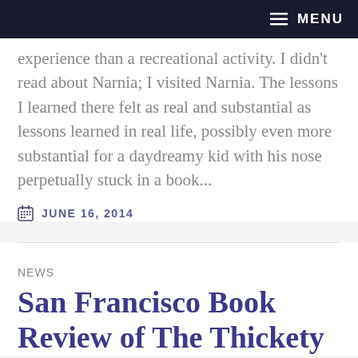≡ MENU
experience than a recreational activity.  I didn't read about Narnia; I visited Narnia.  The lessons I learned there felt as real and substantial as lessons learned in real life, possibly even more substantial for a daydreamy kid with his nose perpetually stuck in a book...
JUNE 16, 2014
NEWS
San Francisco Book Review of The Thickety